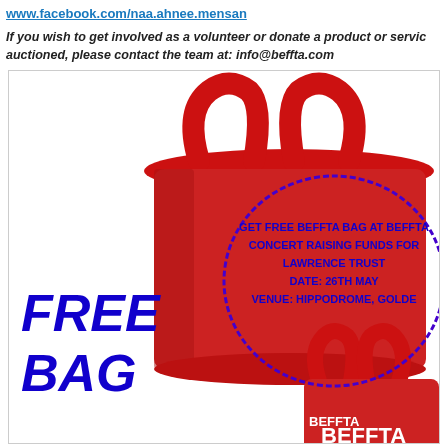www.facebook.com/naa.ahnee.mensan
If you wish to get involved as a volunteer or donate a product or service to be auctioned, please contact the team at: info@beffta.com
[Figure (infographic): Red BEFFTA tote bags promotional image with 'FREE BAG' text on the left and an oval callout with event details: GET FREE BEFFTA BAG AT BEFFTA CONCERT RAISING FUNDS FOR LAWRENCE TRUST DATE: 26TH MAY VENUE: HIPPODROME, GOLDERS]